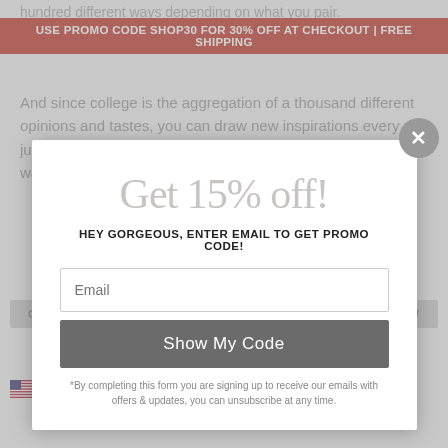USE PROMO CODE SHOP30 FOR 30% OFF AT CHECKOUT | FREE SHIPPING
hundred different ways depending on what you pair. And since college is the aggregation of a thousand different opinions and tastes, you can draw new inspirations every day just by walking around campus. Textbooks aren't the only way to learn.
[Figure (screenshot): Modal popup overlay with discount offer, email input, and submit button]
HEY GORGEOUS, ENTER EMAIL TO GET PROMO CODE!
Email
Show My Code
*By completing this form you are signing up to receive our emails with offers & updates, you can unsubscribe at any time.
USD